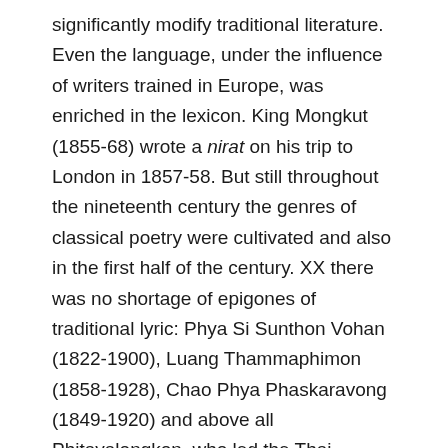significantly modify traditional literature. Even the language, under the influence of writers trained in Europe, was enriched in the lexicon. King Mongkut (1855-68) wrote a nirat on his trip to London in 1857-58. But still throughout the nineteenth century the genres of classical poetry were cultivated and also in the first half of the century. XX there was no shortage of epigones of traditional lyric: Phya Si Sunthon Vohan (1822-1900), Luang Thammaphimon (1858-1928), Chao Phya Phaskaravong (1849-1920) and above all Phitayalongkon, who led the Thai literature until the renewal. in our day following the growing influences of Western literature. Akat Dankong, considered the pioneer of the modern Thai novel, expresses in his works the bitterness for the impossible encounter between East and West; less pessimistic than he, Kulap Saypradit in his novels follows the current of socialist realism. Thai literature of the second half of the century. XX is characterized by a great flourishing of prose, while poetry appears less developed (with the exception